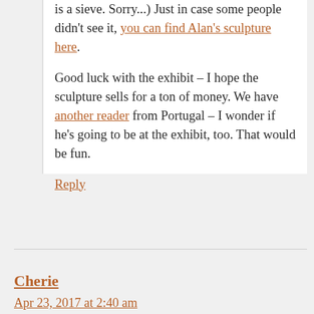is a sieve. Sorry...) Just in case some people didn't see it, you can find Alan's sculpture here.
Good luck with the exhibit – I hope the sculpture sells for a ton of money. We have another reader from Portugal – I wonder if he's going to be at the exhibit, too. That would be fun.
Reply
Cherie
Apr 23, 2017 at 2:40 am